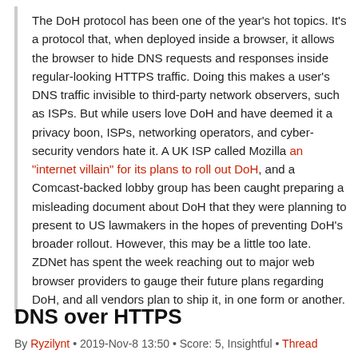The DoH protocol has been one of the year's hot topics. It's a protocol that, when deployed inside a browser, it allows the browser to hide DNS requests and responses inside regular-looking HTTPS traffic. Doing this makes a user's DNS traffic invisible to third-party network observers, such as ISPs. But while users love DoH and have deemed it a privacy boon, ISPs, networking operators, and cyber-security vendors hate it. A UK ISP called Mozilla an "internet villain" for its plans to roll out DoH, and a Comcast-backed lobby group has been caught preparing a misleading document about DoH that they were planning to present to US lawmakers in the hopes of preventing DoH's broader rollout. However, this may be a little too late. ZDNet has spent the week reaching out to major web browser providers to gauge their future plans regarding DoH, and all vendors plan to ship it, in one form or another.
DNS over HTTPS
By Ryzilynt • 2019-Nov-8 13:50 • Score: 5, Insightful • Thread